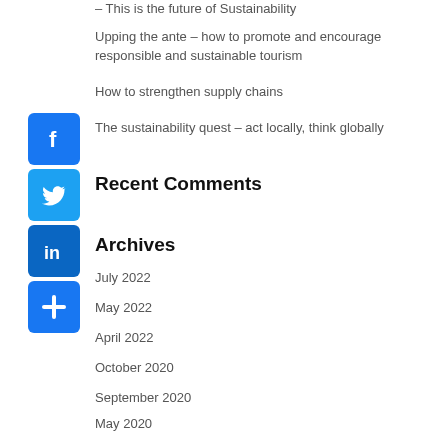– This is the future of Sustainability
Upping the ante – how to promote and encourage responsible and sustainable tourism
How to strengthen supply chains
The sustainability quest – act locally, think globally
Recent Comments
Archives
July 2022
May 2022
April 2022
October 2020
September 2020
May 2020
April 2020